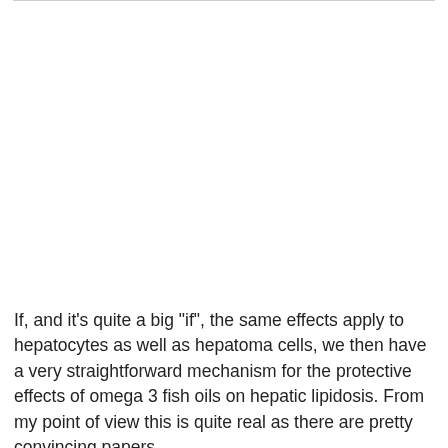If, and it's quite a big "if", the same effects apply to hepatocytes as well as hepatoma cells, we then have a very straightforward mechanism for the protective effects of omega 3 fish oils on hepatic lipidosis. From my point of view this is quite real as there are pretty convincing papers